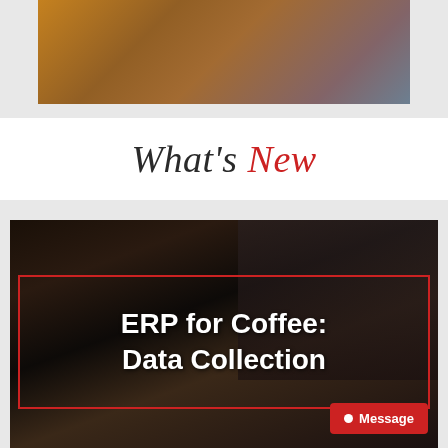[Figure (photo): Top portion of a photo showing a person wearing an orange blazer over a white top, partially cropped]
What's New
[Figure (photo): Dark photo of a woman wearing glasses, appearing to work with coffee equipment. Overlaid with a red-bordered box containing white bold text reading 'ERP for Coffee: Data Collection'. A red 'Message' button appears in the bottom right corner.]